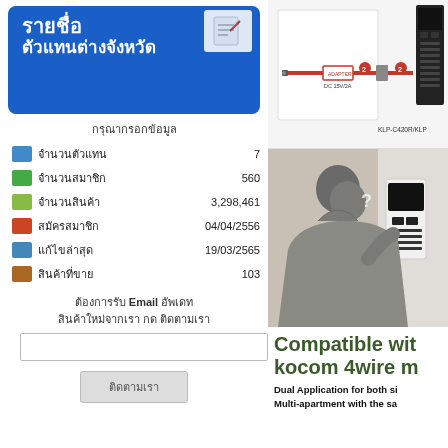[Figure (infographic): Blue banner with Thai text: รายชื่อ ตัวแทนต่างจังหวัด]
กรุณากรอกข้อมูล
จำนวนตัวแทน 7
จำนวนสมาชิก 560
จำนวนสินค้า 3,298,461
สมัครสมาชิก 04/04/2556
แก้ไขล่าสุด 19/03/2565
สินค้าที่ขาย 103
ต้องการรับ Email อัพเดท สินค้าใหม่จากเรา กด ติดตามเรา
[Figure (engineering-diagram): Wiring diagram showing ADAPTER DC 15V/2A connected to KLP-C420R/KLP module with red cables and connectors labeled 2]
[Figure (photo): Person in grey hoodie looking at an intercom/access control panel on a wall]
Compatible wit kocom 4wire m
Dual Application for both si Multi-apartment with the sa